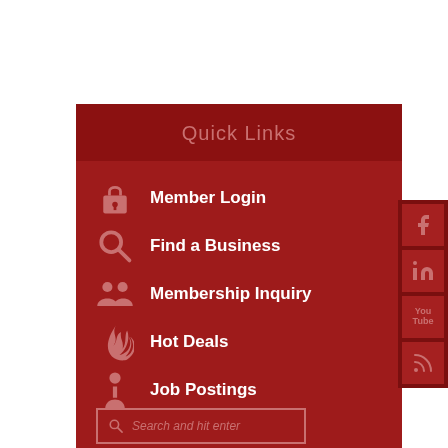Quick Links
Member Login
Find a Business
Membership Inquiry
Hot Deals
Job Postings
[Figure (infographic): Social media sidebar icons: Facebook, LinkedIn, YouTube, RSS]
Search and hit enter